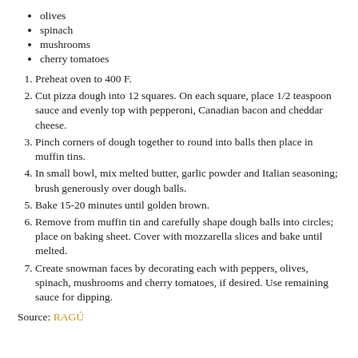olives
spinach
mushrooms
cherry tomatoes
1. Preheat oven to 400 F.
2. Cut pizza dough into 12 squares. On each square, place 1/2 teaspoon sauce and evenly top with pepperoni, Canadian bacon and cheddar cheese.
3. Pinch corners of dough together to round into balls then place in muffin tins.
4. In small bowl, mix melted butter, garlic powder and Italian seasoning; brush generously over dough balls.
5. Bake 15-20 minutes until golden brown.
6. Remove from muffin tin and carefully shape dough balls into circles; place on baking sheet. Cover with mozzarella slices and bake until melted.
7. Create snowman faces by decorating each with peppers, olives, spinach, mushrooms and cherry tomatoes, if desired. Use remaining sauce for dipping.
Source: RAGÚ